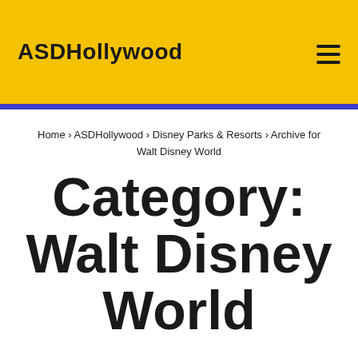ASDHollywood
Home › ASDHollywood › Disney Parks & Resorts › Archive for Walt Disney World
Category: Walt Disney World
ASD's Visits to Walt Disney World Resort, Florida (First Visit: October 1972)